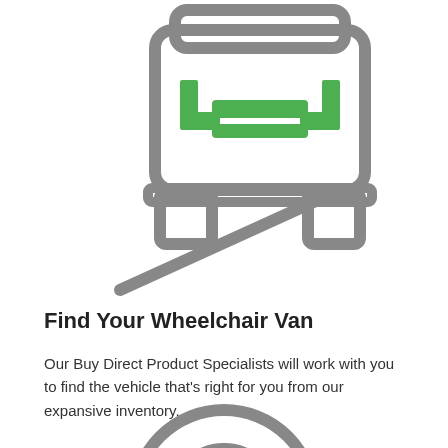[Figure (illustration): Icon of a van/wheelchair van viewed from the front, outlined in gray with green accent details (dashboard elements). A diagonal gray line extends from the lower left toward the van, suggesting a ramp or pointer.]
Find Your Wheelchair Van
Our Buy Direct Product Specialists will work with you to find the vehicle that's right for you from our expansive inventory.
[Figure (illustration): Partial icon of a steering wheel, outlined in gray with a green square accent in the center, visible at the bottom of the page.]